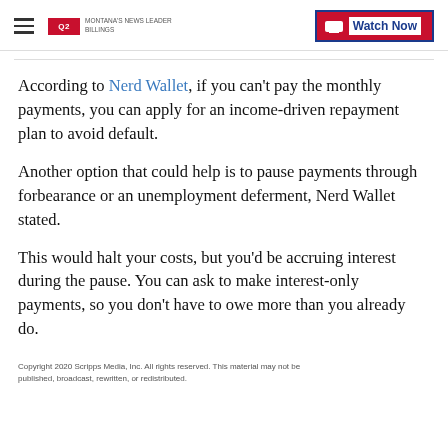Q2 MONTANAS NEWS LEADER | Watch Now
According to Nerd Wallet, if you can't pay the monthly payments, you can apply for an income-driven repayment plan to avoid default.
Another option that could help is to pause payments through forbearance or an unemployment deferment, Nerd Wallet stated.
This would halt your costs, but you'd be accruing interest during the pause. You can ask to make interest-only payments, so you don't have to owe more than you already do.
Copyright 2020 Scripps Media, Inc. All rights reserved. This material may not be published, broadcast, rewritten, or redistributed.